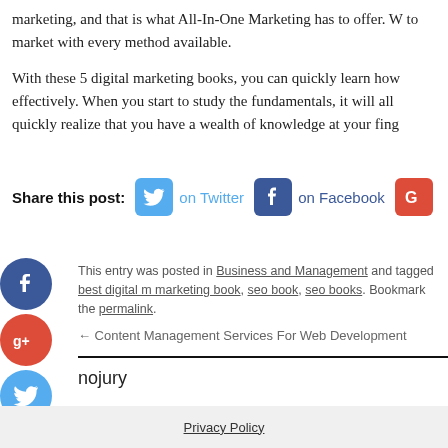marketing, and that is what All-In-One Marketing has to offer. W to market with every method available.
With these 5 digital marketing books, you can quickly learn how effectively. When you start to study the fundamentals, it will all quickly realize that you have a wealth of knowledge at your fing
Share this post: on Twitter on Facebook
This entry was posted in Business and Management and tagged best digital marketing book, seo book, seo books. Bookmark the permalink.
← Content Management Services For Web Development
nojury
Privacy Policy